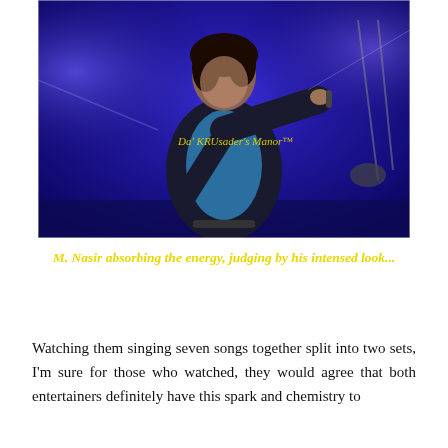[Figure (photo): A male performer (M. Nasir) singing on stage holding a microphone, wearing a dark blazer over a blue shirt, with a blue-lit stage background. A watermark reads 'Da' KRUsader's Manor™'.]
M. Nasir absorbing the energy, judging by his intensed look...
Watching them singing seven songs together split into two sets, I'm sure for those who watched, they would agree that both entertainers definitely have this spark and chemistry to